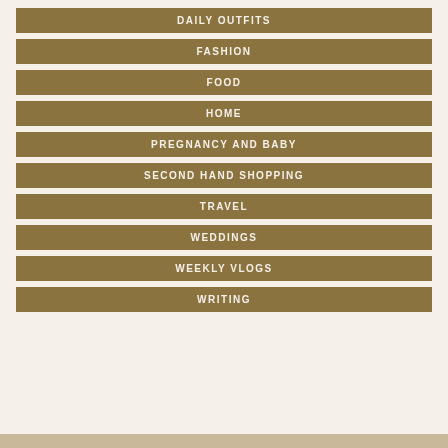DAILY OUTFITS
FASHION
FOOD
HOME
PREGNANCY AND BABY
SECOND HAND SHOPPING
TRAVEL
WEDDINGS
WEEKLY VLOGS
WRITING